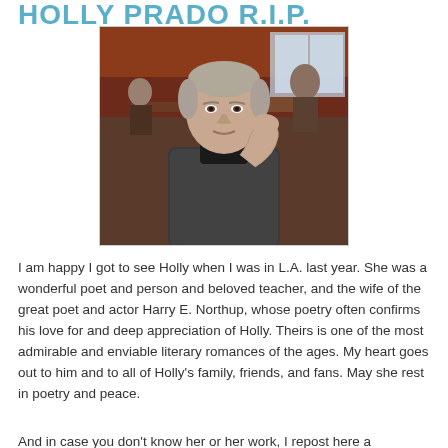HOLLY PRADO R.I.P.
[Figure (photo): Portrait photograph of Holly Prado, an older woman with short gray hair, resting her chin on her hand, seated in what appears to be a restaurant or diner setting. She is wearing a dark gray textured jacket.]
I am happy I got to see Holly when I was in L.A. last year. She was a wonderful poet and person and beloved teacher, and the wife of the great poet and actor Harry E. Northup, whose poetry often confirms his love for and deep appreciation of Holly. Theirs is one of the most admirable and enviable literary romances of the ages. My heart goes out to him and to all of Holly's family, friends, and fans. May she rest in poetry and peace.
And in case you don't know her or her work, I repost here a